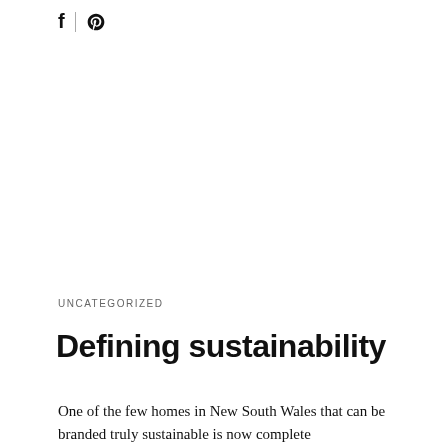f | Pinterest icon
UNCATEGORIZED
Defining sustainability
One of the few homes in New South Wales that can be branded truly sustainable is now complete